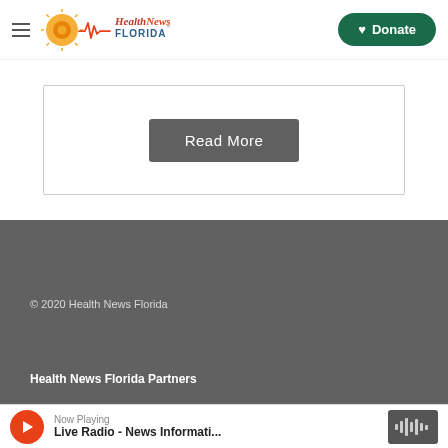Health News Florida — navigation header with Donate button
Read More
© 2020 Health News Florida
Health News Florida Partners
Governance
FCC Public Files
Now Playing — Live Radio - News Informati...